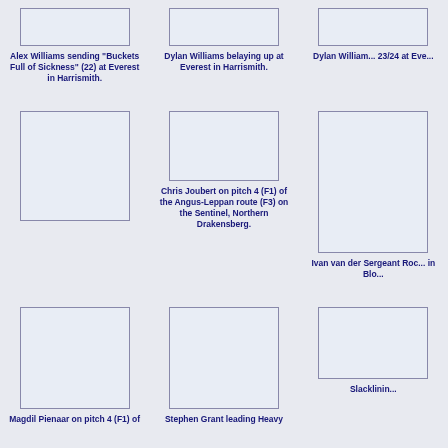[Figure (photo): Photo placeholder - Alex Williams climbing]
Alex Williams sending "Buckets Full of Sickness" (22) at Everest in Harrismith.
[Figure (photo): Photo placeholder - Dylan Williams belaying]
Dylan Williams belaying up at Everest in Harrismith.
[Figure (photo): Photo placeholder - Dylan Williams 23/24]
Dylan Williams 23/24 at Eve...
[Figure (photo): Photo placeholder - large climbing photo]
[Figure (photo): Photo placeholder - Chris Joubert on pitch 4]
Chris Joubert on pitch 4 (F1) of the Angus-Leppan route (F3) on the Sentinel, Northern Drakensberg.
[Figure (photo): Photo placeholder - Ivan van der ...]
Ivan van der Sergeant Roc... in Blo...
[Figure (photo): Photo placeholder - Magdil Pienaar]
Magdil Pienaar on pitch 4 (F1) of
[Figure (photo): Photo placeholder - Stephen Grant]
Stephen Grant leading Heavy
[Figure (photo): Photo placeholder - Slacklining]
Slacklinin...